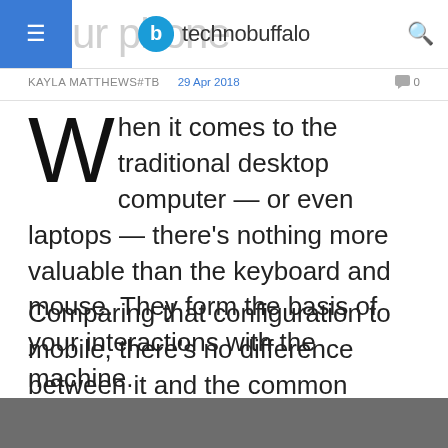technobuffalo
KAYLA MATTHEWS#TB   29 Apr 2018   💬 0
When it comes to the traditional desktop computer — or even laptops — there's nothing more valuable than the keyboard and mouse. They form the basis of your interactions with the machine.
Comparing that configuration to mobile, there's no difference between it and the common touchscreen. But touchscreen-based and mobile devices also use a form of the keyboard, albeit digital in nature.